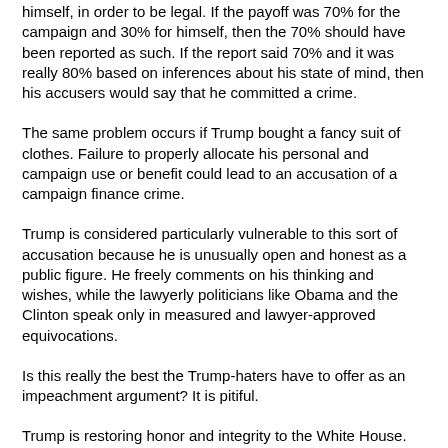himself, in order to be legal. If the payoff was 70% for the campaign and 30% for himself, then the 70% should have been reported as such. If the report said 70% and it was really 80% based on inferences about his state of mind, then his accusers would say that he committed a crime.
The same problem occurs if Trump bought a fancy suit of clothes. Failure to properly allocate his personal and campaign use or benefit could lead to an accusation of a campaign finance crime.
Trump is considered particularly vulnerable to this sort of accusation because he is unusually open and honest as a public figure. He freely comments on his thinking and wishes, while the lawyerly politicians like Obama and the Clinton speak only in measured and lawyer-approved equivocations.
Is this really the best the Trump-haters have to offer as an impeachment argument? It is pitiful.
Trump is restoring honor and integrity to the White House.